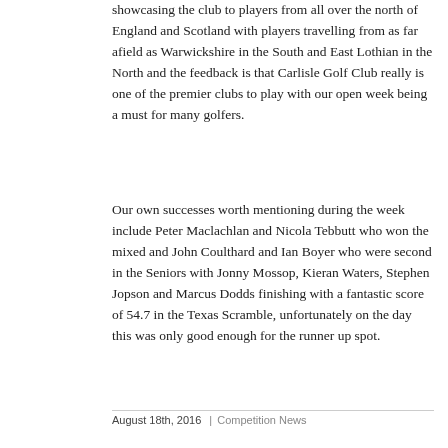showcasing the club to players from all over the north of England and Scotland with players travelling from as far afield as Warwickshire in the South and East Lothian in the North and the feedback is that Carlisle Golf Club really is one of the premier clubs to play with our open week being a must for many golfers.
Our own successes worth mentioning during the week include Peter Maclachlan and Nicola Tebbutt who won the mixed and John Coulthard and Ian Boyer who were second in the Seniors with Jonny Mossop, Kieran Waters, Stephen Jopson and Marcus Dodds finishing with a fantastic score of 54.7 in the Texas Scramble, unfortunately on the day this was only good enough for the runner up spot.
August 18th, 2016  |  Competition News